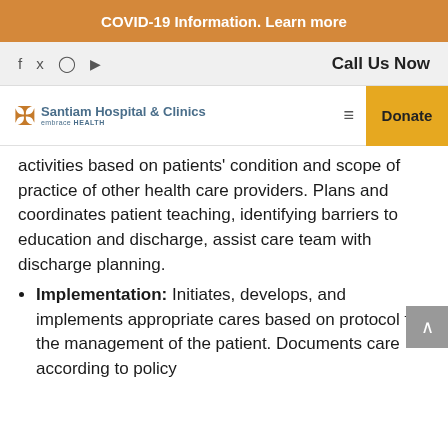COVID-19 Information. Learn more
f  y  [instagram]  [youtube]  Call Us Now
Santiam Hospital & Clinics embrace HEALTH  [menu]  Donate
activities based on patients' condition and scope of practice of other health care providers. Plans and coordinates patient teaching, identifying barriers to education and discharge, assist care team with discharge planning.
Implementation: Initiates, develops, and implements appropriate cares based on protocol for the management of the patient. Documents care according to policy